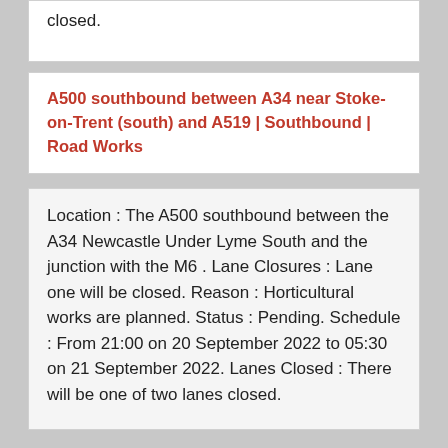closed.
A500 southbound between A34 near Stoke-on-Trent (south) and A519 | Southbound | Road Works
Location : The A500 southbound between the A34 Newcastle Under Lyme South and the junction with the M6 . Lane Closures : Lane one will be closed. Reason : Horticultural works are planned. Status : Pending. Schedule : From 21:00 on 20 September 2022 to 05:30 on 21 September 2022. Lanes Closed : There will be one of two lanes closed.